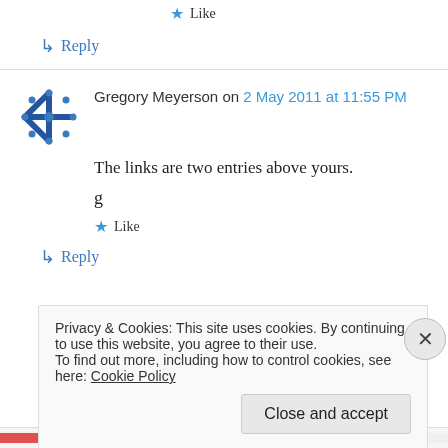★ Like
↳ Reply
Gregory Meyerson on 2 May 2011 at 11:55 PM
The links are two entries above yours.
g
★ Like
↳ Reply
Privacy & Cookies: This site uses cookies. By continuing to use this website, you agree to their use.
To find out more, including how to control cookies, see here: Cookie Policy
Close and accept